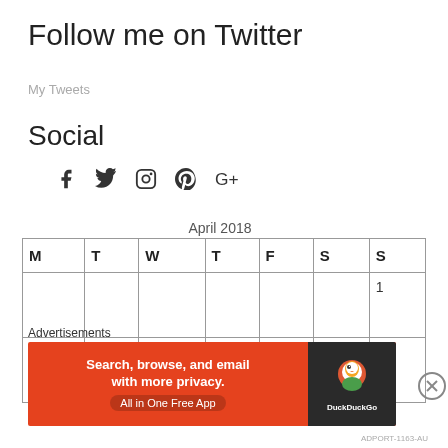Follow me on Twitter
My Tweets
Social
[Figure (infographic): Social media icons: Facebook, Twitter, Instagram, Pinterest, Google+]
April 2018
| M | T | W | T | F | S | S |
| --- | --- | --- | --- | --- | --- | --- |
|  |  |  |  |  |  | 1 |
| 2 | 3 | 4 | 5 | 6 | 7 | 8 |
Advertisements
[Figure (other): DuckDuckGo advertisement banner: Search, browse, and email with more privacy. All in One Free App. DuckDuckGo logo.]